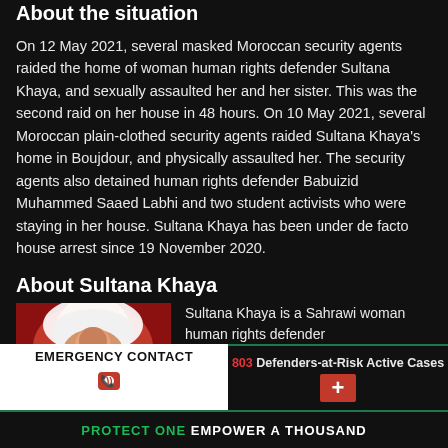About the situation
On 12 May 2021, several masked Moroccan security agents raided the home of woman human rights defender Sultana Khaya, and sexually assaulted her and her sister. This was the second raid on her house in 48 hours. On 10 May 2021, several Moroccan plain-clothed security agents raided Sultana Khaya's home in Boujdour, and physically assaulted her. The security agents also detained human rights defender Babuizid Muhammed Saaed Labhi and two student activists who were staying in her house. Sultana Khaya has been under de facto house arrest since 19 November 2020.
About Sultana Khaya
[Figure (photo): Photo of Sultana Khaya wearing a white headscarf against a red background]
Sultana Khaya is a Sahrawi woman human rights defender
EMERGENCY CONTACT
803 Defenders-at-Risk Active Cases
PROTECT ONE EMPOWER A THOUSAND